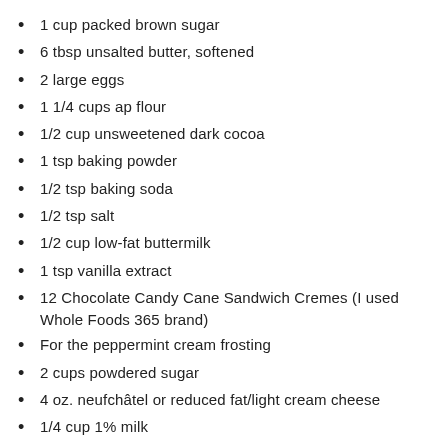1 cup packed brown sugar
6 tbsp unsalted butter, softened
2 large eggs
1 1/4 cups ap flour
1/2 cup unsweetened dark cocoa
1 tsp baking powder
1/2 tsp baking soda
1/2 tsp salt
1/2 cup low-fat buttermilk
1 tsp vanilla extract
12 Chocolate Candy Cane Sandwich Cremes (I used Whole Foods 365 brand)
For the peppermint cream frosting
2 cups powdered sugar
4 oz. neufchâtel or reduced fat/light cream cheese
1/4 cup 1% milk
1/8 teaspoon peppermint extract
For the topping
3 regular sized candy canes, crushed